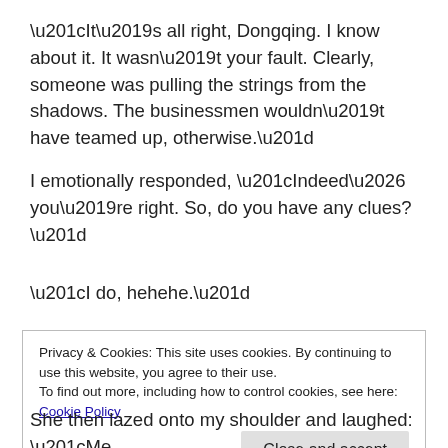“It’s all right, Dongqing. I know about it. It wasn’t your fault. Clearly, someone was pulling the strings from the shadows. The businessmen wouldn’t have teamed up, otherwise.”
I emotionally responded, “Indeed… you’re right. So, do you have any clues?”
“I do, hehehe.”
Privacy & Cookies: This site uses cookies. By continuing to use this website, you agree to their use.
To find out more, including how to control cookies, see here: Cookie Policy
She then lazed onto my shoulder and laughed: “Me,